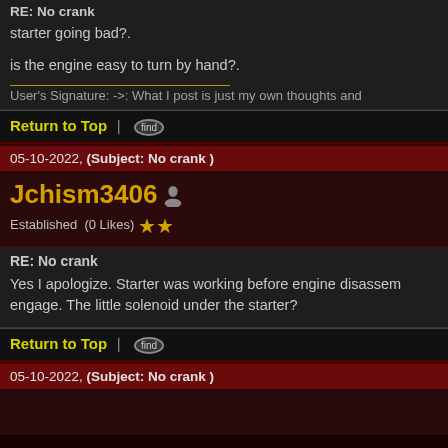RE: No crank
starter going bad?.

is the engine easy to turn by hand?.
User's Signature: ->: What I post is just my own thoughts and
Return to Top | find
05-10-2022, (Subject: No crank )
Jchism3406  Established  (0 Likes) ★★
RE: No crank
Yes I apologize. Starter was working before engine disassem... engage. The little solenoid under the starter?
Return to Top | find
05-10-2022, (Subject: No crank )